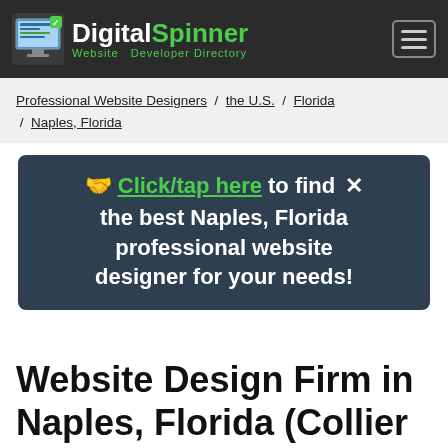DigitalSpinner – Website Developer Directory
Professional Website Designers / the U.S. / Florida / Naples, Florida
🤝 Click/tap here to find the best Naples, Florida professional website designer for your needs! ✕
Website Design Firm in Naples, Florida (Collier County)